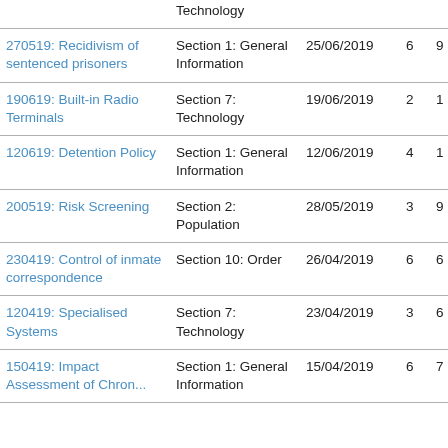| Title | Section | Date | Col4 | Col5 |
| --- | --- | --- | --- | --- |
| [partial] Technology |  |  |  |  |
| 270519: Recidivism of sentenced prisoners | Section 1: General Information | 25/06/2019 | 6 | 9 |
| 190619: Built-in Radio Terminals | Section 7: Technology | 19/06/2019 | 2 | 1 |
| 120619: Detention Policy | Section 1: General Information | 12/06/2019 | 4 | 1 |
| 200519: Risk Screening | Section 2: Population | 28/05/2019 | 3 | 9 |
| 230419: Control of inmate correspondence | Section 10: Order | 26/04/2019 | 6 | 6 |
| 120419: Specialised Systems | Section 7: Technology | 23/04/2019 | 3 | 6 |
| 150419: Impact Assessment of [Screening...] | Section 1: General Information | 15/04/2019 | 6 | 7 |